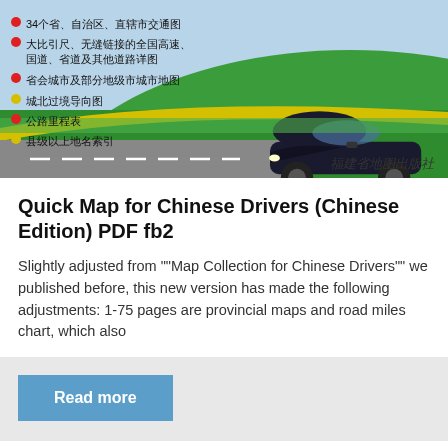[Figure (illustration): Book cover image showing a sports car on a road with green and yellow swooping design elements, Chinese bullet-point text listing map features, and a publisher stamp in the lower right.]
Quick Map for Chinese Drivers (Chinese Edition) PDF fb2
Slightly adjusted from ""Map Collection for Chinese Drivers"" we published before, this new version has made the following adjustments: 1-75 pages are provincial maps and road miles chart, which also
Read more